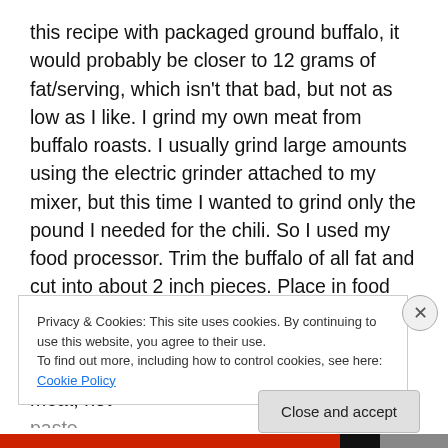this recipe with packaged ground buffalo, it would probably be closer to 12 grams of fat/serving, which isn't that bad, but not as low as I like. I grind my own meat from buffalo roasts. I usually grind large amounts using the electric grinder attached to my mixer, but this time I wanted to grind only the pound I needed for the chili. So I used my food processor. Trim the buffalo of all fat and cut into about 2 inch pieces. Place in food processor and pulse several times until meat is ground to the texture that you want. Don't overprocess – you're looking for ground meat, not
Privacy & Cookies: This site uses cookies. By continuing to use this website, you agree to their use.
To find out more, including how to control cookies, see here: Cookie Policy
Close and accept